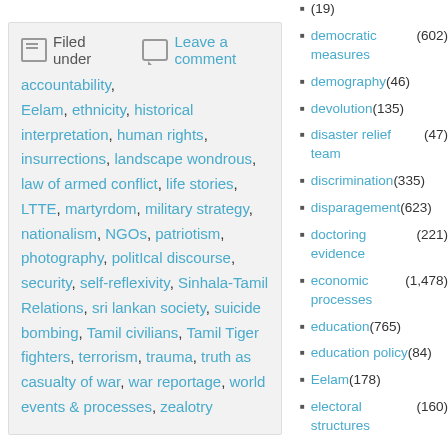Filed under | Leave a comment | accountability, Eelam, ethnicity, historical interpretation, human rights, insurrections, landscape wondrous, law of armed conflict, life stories, LTTE, martyrdom, military strategy, nationalism, NGOs, patriotism, photography, politIcal discourse, security, self-reflexivity, Sinhala-Tamil Relations, sri lankan society, suicide bombing, Tamil civilians, Tamil Tiger fighters, terrorism, trauma, truth as casualty of war, war reportage, world events & processes, zealotry
(19)
democratic measures (602)
demography (46)
devolution (135)
disaster relief team (47)
discrimination (335)
disparagement (623)
doctoring evidence (221)
economic processes (1,478)
education (765)
education policy (84)
Eelam (178)
electoral structures (160)